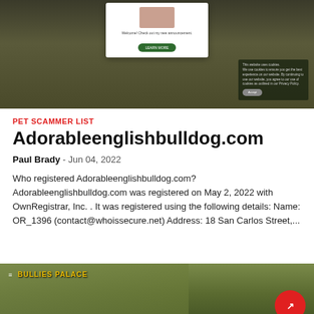[Figure (screenshot): Screenshot of a website showing puppies/bulldogs with a popup notification box and a cookie consent banner in the lower right]
PET SCAMMER LIST
Adorableenglishbulldog.com
Paul Brady - Jun 04, 2022
Who registered Adorableenglishbulldog.com? Adorableenglishbulldog.com was registered on May 2, 2022 with OwnRegistrar, Inc. . It was registered using the following details: Name: OR_1396 (contact@whoissecure.net) Address: 18 San Carlos Street,...
[Figure (screenshot): Partial screenshot of Bullies Palace website with yellow logo text and a red circle arrow icon]